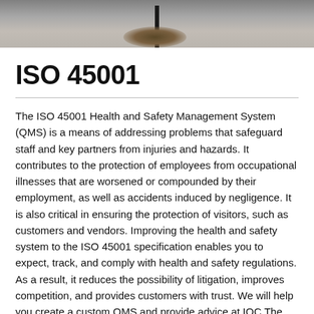[Figure (photo): A photograph showing a ground-level outdoor scene with gravel/dirt surface and a dark stick or post visible, with a dark patch/stain on the ground beneath it.]
ISO 45001
The ISO 45001 Health and Safety Management System (QMS) is a means of addressing problems that safeguard staff and key partners from injuries and hazards. It contributes to the protection of employees from occupational illnesses that are worsened or compounded by their employment, as well as accidents induced by negligence. It is also critical in ensuring the protection of visitors, such as customers and vendors. Improving the health and safety system to the ISO 45001 specification enables you to expect, track, and comply with health and safety regulations. As a result, it reduces the possibility of litigation, improves competition, and provides customers with trust. We will help you create a custom QMS and provide advice at IQC The ISO Pros of West Virginia in Harrisville (WV).